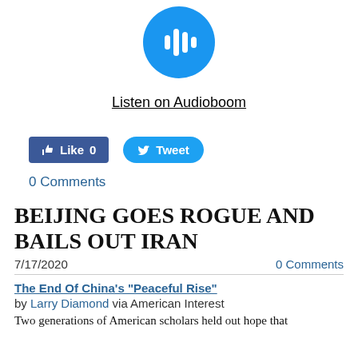[Figure (logo): Audioboom logo: blue circle with white sound wave bars]
Listen on Audioboom
[Figure (screenshot): Facebook Like button showing 'Like 0' and Twitter Tweet button]
0 Comments
BEIJING GOES ROGUE AND BAILS OUT IRAN
7/17/2020    0 Comments
The End Of China's "Peaceful Rise"
by Larry Diamond via American Interest
Two generations of American scholars held out hope that